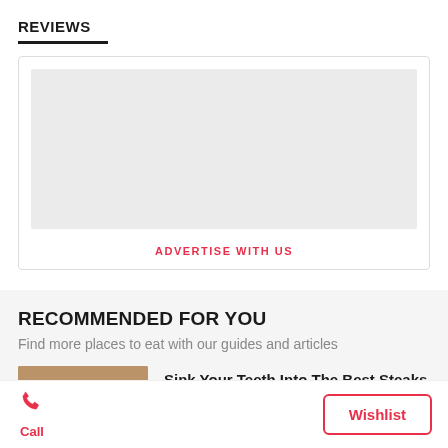REVIEWS
[Figure (other): Advertisement placeholder box with grey image area and 'ADVERTISE WITH US' link]
RECOMMENDED FOR YOU
Find more places to eat with our guides and articles
[Figure (photo): Food photo showing steak dish]
Sink Your Teeth Into The Best Steaks In Si...
Call | Wishlist